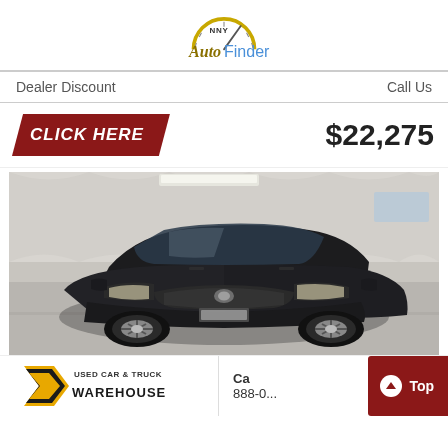NNY Auto Finder
Dealer Discount    Call Us
CLICK HERE    $22,275
[Figure (photo): Black Buick SUV (Encore/similar) parked indoors in a dealer showroom with white draped walls and overhead fluorescent lighting, photographed from a front-three-quarter angle.]
[Figure (logo): Used Car & Truck Warehouse dealer logo with yellow and black design]
Ca
888-0...
Top